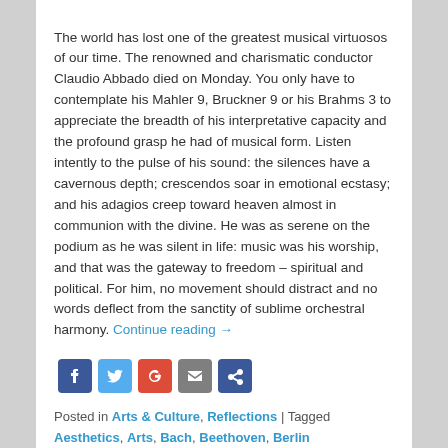The world has lost one of the greatest musical virtuosos of our time. The renowned and charismatic conductor Claudio Abbado died on Monday. You only have to contemplate his Mahler 9, Bruckner 9 or his Brahms 3 to appreciate the breadth of his interpretative capacity and the profound grasp he had of musical form. Listen intently to the pulse of his sound: the silences have a cavernous depth; crescendos soar in emotional ecstasy; and his adagios creep toward heaven almost in communion with the divine. He was as serene on the podium as he was silent in life: music was his worship, and that was the gateway to freedom – spiritual and political. For him, no movement should distract and no words deflect from the sanctity of sublime orchestral harmony. Continue reading →
[Figure (infographic): Social sharing icons: Facebook (blue), Twitter (light blue), Google+ (red), Email (grey), Share (blue)]
Posted in Arts & Culture, Reflections | Tagged Aesthetics, Arts, Bach, Beethoven, Berlin Philharmonic, Brahms, Bruckner, Character Education, Chicago Symphony